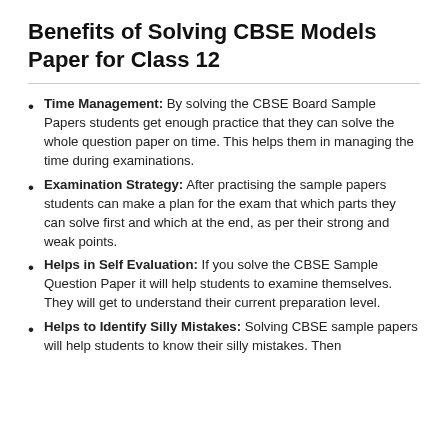Benefits of Solving CBSE Models Paper for Class 12
Time Management: By solving the CBSE Board Sample Papers students get enough practice that they can solve the whole question paper on time. This helps them in managing the time during examinations.
Examination Strategy: After practising the sample papers students can make a plan for the exam that which parts they can solve first and which at the end, as per their strong and weak points.
Helps in Self Evaluation: If you solve the CBSE Sample Question Paper it will help students to examine themselves. They will get to understand their current preparation level.
Helps to Identify Silly Mistakes: Solving CBSE sample papers will help students to know their silly mistakes. Then